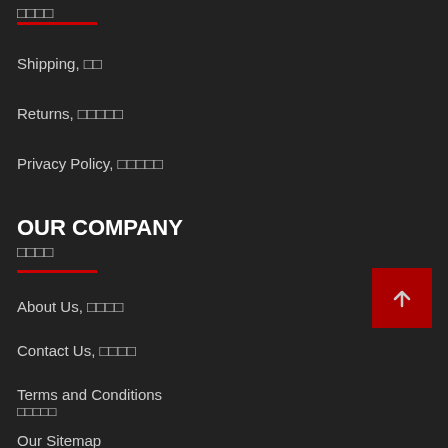□□□□
Shipping, □□
Returns, □□□□□
Privacy Policy, □□□□□
OUR COMPANY □□□□
About Us, □□□□
Contact Us, □□□□
Terms and Conditions □□□□□
Our Sitemap